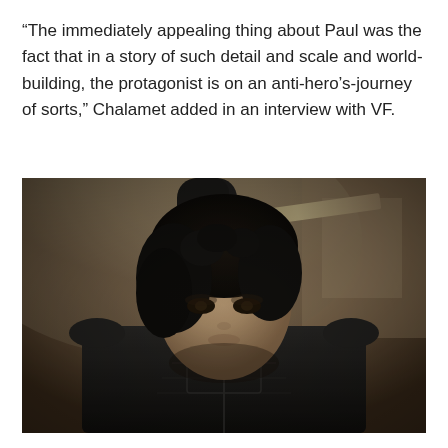“The immediately appealing thing about Paul was the fact that in a story of such detail and scale and world-building, the protagonist is on an anti-hero’s-journey of sorts,” Chalamet added in an interview with VF.
[Figure (photo): A young man in dark futuristic armor holding a blade raised above his head. He has dark curly hair and is wearing a black tactical suit with a high collar. The background appears to be a rocky, sandy environment with warm brown tones.]